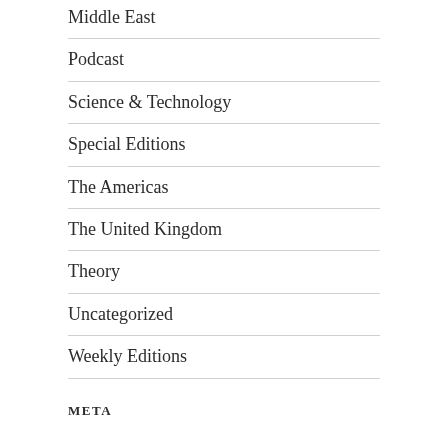Middle East
Podcast
Science & Technology
Special Editions
The Americas
The United Kingdom
Theory
Uncategorized
Weekly Editions
META